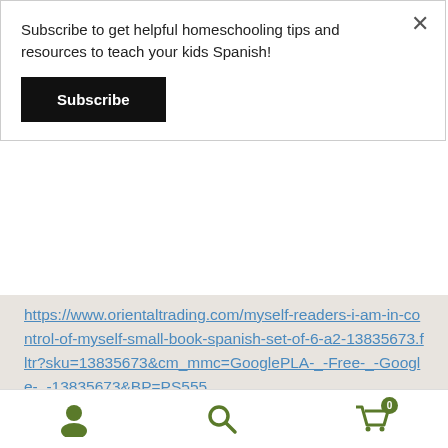Subscribe to get helpful homeschooling tips and resources to teach your kids Spanish!
Subscribe
https://www.orientaltrading.com/myself-readers-i-am-in-control-of-myself-small-book-spanish-set-of-6-a2-13835673.fltr?sku=13835673&cm_mmc=GooglePLA-_-Free-_-Google-_-13835673&BP=PS555
“Let’s Explore Life” set of 10 books : https://www.barnesandnoble.com/w/lets-explore-life-science-grades-2-3-spanish-10-book-set-teacher-created-materials/1130673007?ean=9781425824891